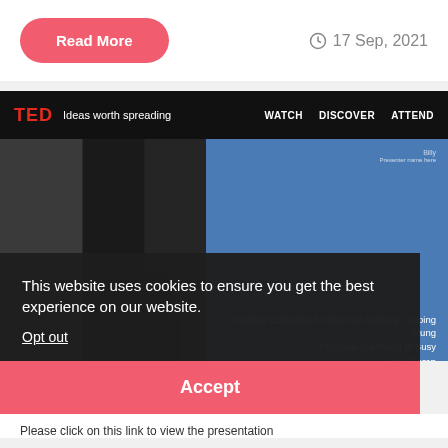Read More
17 Sep, 2021
[Figure (screenshot): Screenshot of the TED website showing a TED talk by John Doran titled 'Positive Education for the 21st Century: Helping Young People Thrive in a World of Busy', with a cookie consent banner overlay and an Accept button.]
This website uses cookies to ensure you get the best experience on our website.
Opt out
Accept
Please click on this link to view the presentation